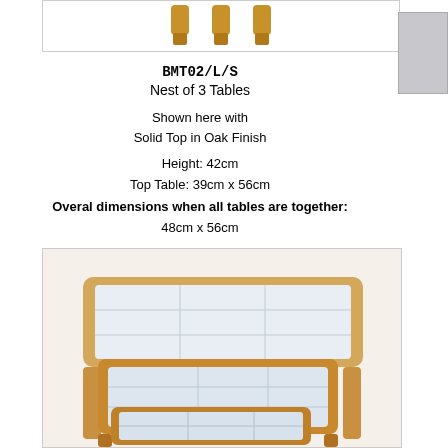[Figure (photo): Top view showing three wooden table legs in oak finish, arranged in a row]
BMT02/L/S
Nest of 3 Tables
Shown here with
Solid Top in Oak Finish
Height: 42cm
Top Table: 39cm x 56cm
Overal dimensions when all tables are together:
48cm x 56cm
[Figure (photo): Photograph of a nest of 3 oak finish tables with tiled/glass tops, stacked together]